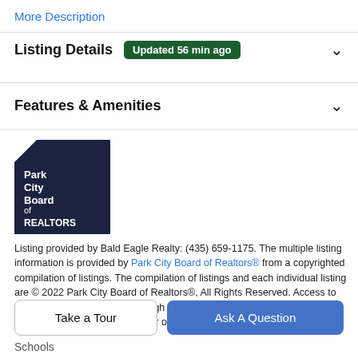More Description
Listing Details  Updated 56 min ago
Features & Amenities
[Figure (logo): Park City Board of REALTORS logo — dark navy pentagon/house shape with white text]
Listing provided by Bald Eagle Realty: (435) 659-1175. The multiple listing information is provided by Park City Board of Realtors® from a copyrighted compilation of listings. The compilation of listings and each individual listing are © 2022 Park City Board of Realtors®, All Rights Reserved. Access to the multiple listing service through this website is made available by High Country Properties as a member of the Park City Board of
Take a Tour
Ask A Question
Schools